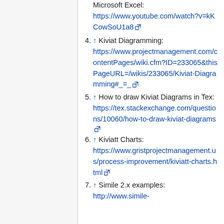Microsoft Excel: https://www.youtube.com/watch?v=kKCowSoU1a8
4. ↑ Kiviat Diagramming: https://www.projectmanagement.com/contentPages/wiki.cfm?ID=233065&thisPageURL=/wikis/233065/Kiviat-Diagramming#_=_
5. ↑ How to draw Kiviat Diagrams in Tex: https://tex.stackexchange.com/questions/10060/how-to-draw-kiviat-diagrams
6. ↑ Kiviatt Charts: https://www.gristprojectmanagement.us/process-improvement/kiviatt-charts.html
7. ↑ Simile 2.x examples: http://www.simile-